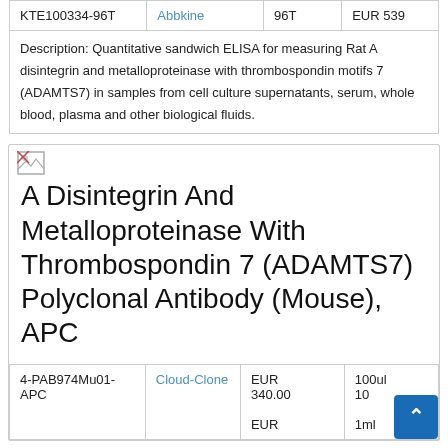|  |  |  |  |
| --- | --- | --- | --- |
| KTE100334-96T | Abbkine | 96T | EUR 539 |
Description: Quantitative sandwich ELISA for measuring Rat A disintegrin and metalloproteinase with thrombospondin motifs 7 (ADAMTS7) in samples from cell culture supernatants, serum, whole blood, plasma and other biological fluids.
[Figure (illustration): Small broken image placeholder icon]
A Disintegrin And Metalloproteinase With Thrombospondin 7 (ADAMTS7) Polyclonal Antibody (Mouse), APC
|  |  |  |  |
| --- | --- | --- | --- |
| 4-PAB974Mu01-APC | Cloud-Clone | EUR 340.00
EUR | 100ul
10
1ml |